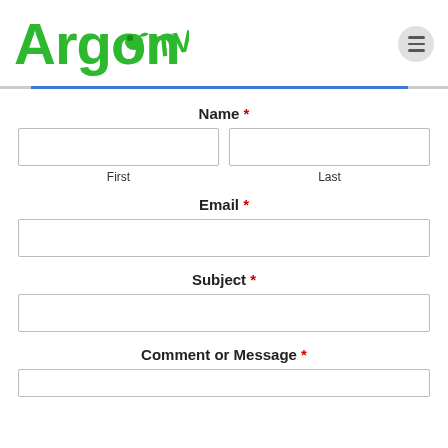[Figure (logo): ArgonTV logo in green with stylized TV text and bird icon]
Name *
First
Last
Email *
Subject *
Comment or Message *